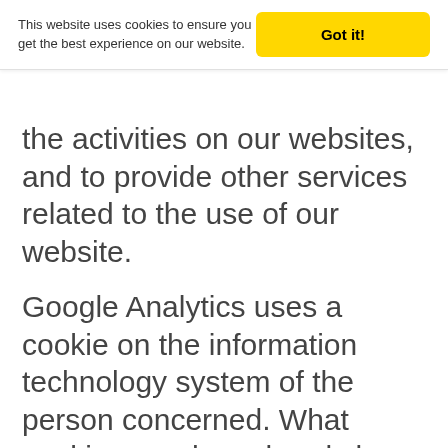This website uses cookies to ensure you get the best experience on our website.
Got it!
the activities on our websites, and to provide other services related to the use of our website.
Google Analytics uses a cookie on the information technology system of the person concerned. What cookies are, has already been explained above. By using this cookie Google is enabled to analyze the usage of our website. Each time one of the pages of this website is accessed by the controller and a Google Analytics component has been integrated, the Internet browser on the information technology system of the person concerned is automatically initiated by the respective Google Analytics component to submit data to Google for online analysis purposes. As part of this technical process, Google will be aware of personal data,